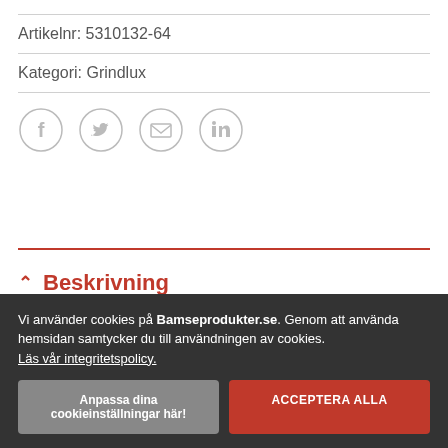Artikelnr: 5310132-64
Kategori: Grindlux
[Figure (infographic): Social share icons: Facebook, Twitter, Email, LinkedIn — outlined circles with icons inside]
Beskrivning
Vi använder cookies på Bamseprodukter.se. Genom att använda hemsidan samtycker du till användningen av cookies. Läs vår integritetspolicy.
Anpassa dina cookieinställningar här! | ACCEPTERA ALLA